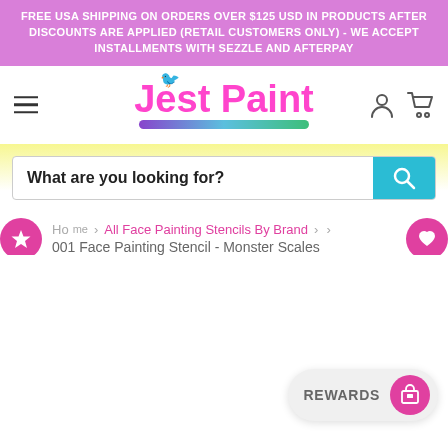FREE USA SHIPPING ON ORDERS OVER $125 USD IN PRODUCTS AFTER DISCOUNTS ARE APPLIED (RETAIL CUSTOMERS ONLY) - WE ACCEPT INSTALLMENTS WITH SEZZLE AND AFTERPAY
[Figure (logo): Jest Paint logo with pink cursive text and colorful underline brush stroke]
What are you looking for?
Home > All Face Painting Stencils By Brand > > 001 Face Painting Stencil - Monster Scales
REWARDS